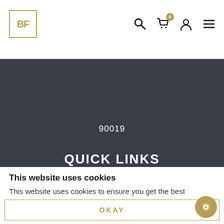[Figure (logo): BF logo in gold square bracket style]
Navigation icons: search, cart (0), user, menu
90019
QUICK LINKS
HOME
ABOUT US
SHOP
ARTICLES
This website uses cookies
This website uses cookies to ensure you get the best experience on our website
OKAY